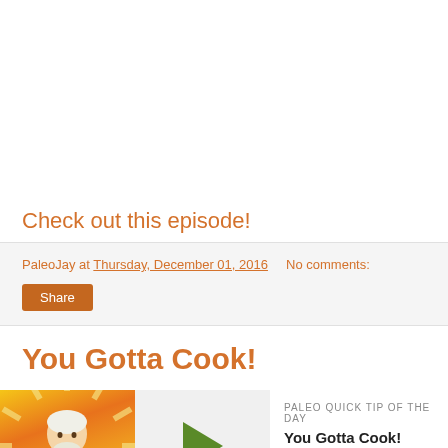Check out this episode!
PaleoJay at Thursday, December 01, 2016   No comments:
Share
You Gotta Cook!
[Figure (other): Podcast widget with thumbnail showing illustrated man with sunburst background, play button, and podcast info. Label: PALEO QUICK TIP OF THE DAY, Title: You Gotta Cook!]